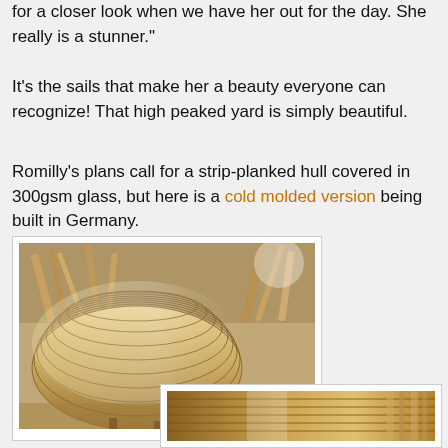for a closer look when we have her out for the day. She really is a stunner."
It's the sails that make her a beauty everyone can recognize! That high peaked yard is simply beautiful.
Romilly's plans call for a strip-planked hull covered in 300gsm glass, but here is a cold molded version being built in Germany.
[Figure (photo): Cold molded boat hull under construction in a German workshop, showing wooden strip planking laid over a hull frame, with lumber and workshop materials visible in the background.]
[Figure (photo): Partial view of another boat construction photo showing wooden planking and workshop interior.]